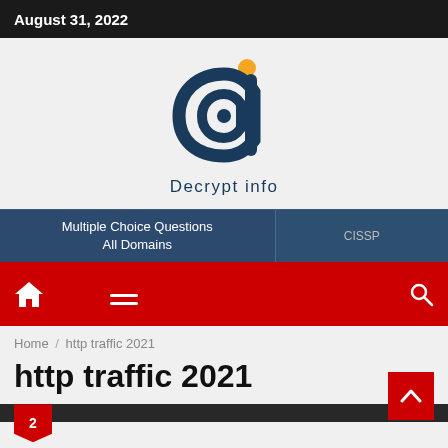August 31, 2022
[Figure (logo): Decrypt info logo — stylized letter d with orange dot above, dark blue circular arc design]
Decrypt info
Multiple Choice Questions All Domains
CISSP
Home / http traffic 2021
http traffic 2021
2